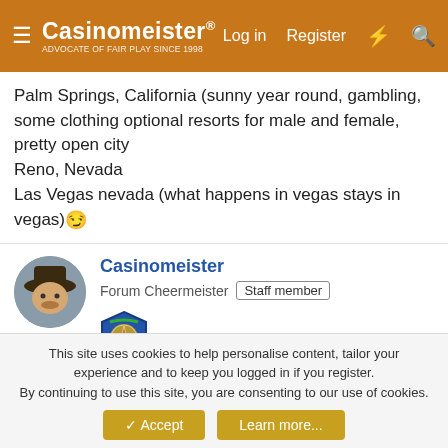Casinomeister - ADVOCATE OF FAIR PLAY SINCE 1998 | Log in | Register
Palm Springs, California (sunny year round, gambling, some clothing optional resorts for male and female, pretty open city
Reno, Nevada
Las Vegas nevada (what happens in vegas stays in vegas)
Casinomeister
Forum Cheermeister | Staff member
Nov 30, 2012 #11
There could be a chance of doing this in September during the G2E week in Vegas. Perhaps I'll pencil you guys in
This site uses cookies to help personalise content, tailor your experience and to keep you logged in if you register.
By continuing to use this site, you are consenting to our use of cookies.